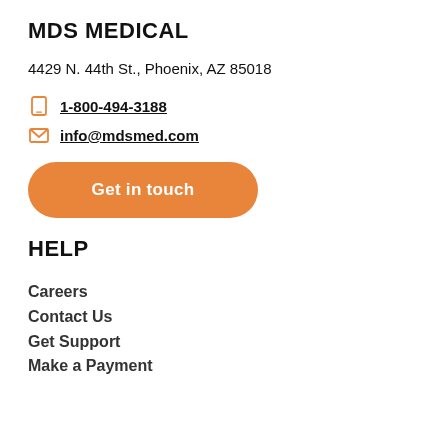MDS MEDICAL
4429 N. 44th St., Phoenix, AZ 85018
1-800-494-3188
info@mdsmed.com
[Figure (other): Orange rounded button with white text 'Get in touch']
HELP
Careers
Contact Us
Get Support
Make a Payment